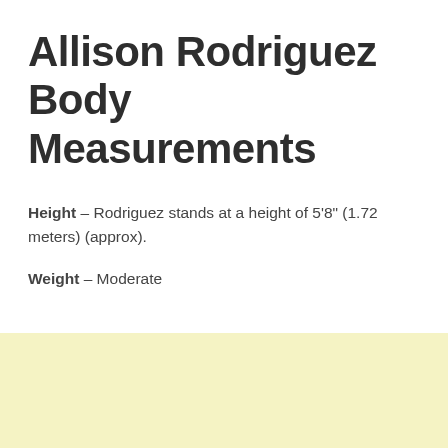Allison Rodriguez Body Measurements
Height – Rodriguez stands at a height of 5'8" (1.72 meters) (approx).
Weight – Moderate